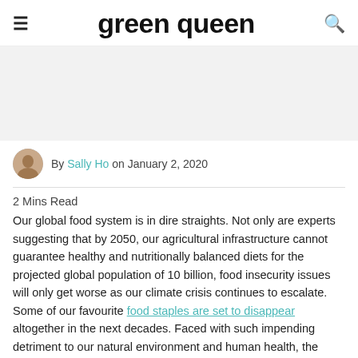green queen
[Figure (photo): Hero image placeholder, light gray background]
By Sally Ho on January 2, 2020
2 Mins Read
Our global food system is in dire straights. Not only are experts suggesting that by 2050, our agricultural infrastructure cannot guarantee healthy and nutritionally balanced diets for the projected global population of 10 billion, food insecurity issues will only get worse as our climate crisis continues to escalate. Some of our favourite food staples are set to disappear altogether in the next decades. Faced with such impending detriment to our natural environment and human health, the world will look to climate resistant crops as a core part of our